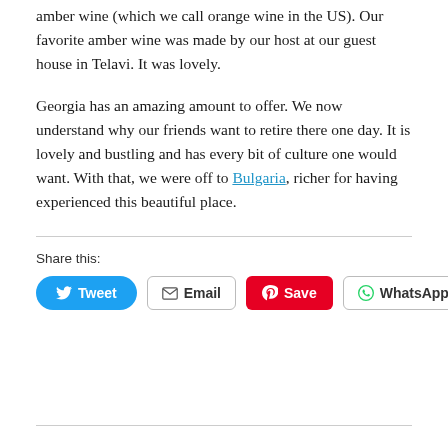amber wine (which we call orange wine in the US). Our favorite amber wine was made by our host at our guest house in Telavi. It was lovely.
Georgia has an amazing amount to offer. We now understand why our friends want to retire there one day. It is lovely and bustling and has every bit of culture one would want. With that, we were off to Bulgaria, richer for having experienced this beautiful place.
Share this:
[Figure (other): Social sharing buttons: Tweet (Twitter/blue), Email (outlined), Save (Pinterest/red), WhatsApp (outlined)]